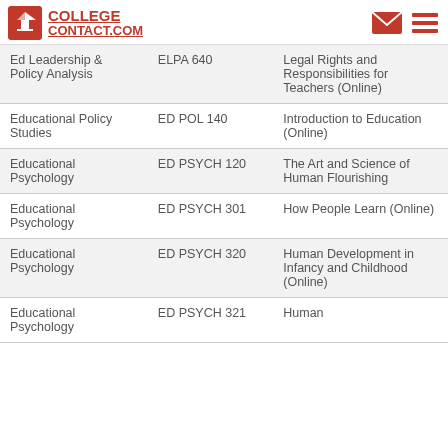COLLEGE CONTACT.COM
| Department | Course Code | Course Name |
| --- | --- | --- |
| Ed Leadership & Policy Analysis | ELPA 640 | Legal Rights and Responsibilities for Teachers (Online) |
| Educational Policy Studies | ED POL 140 | Introduction to Education (Online) |
| Educational Psychology | ED PSYCH 120 | The Art and Science of Human Flourishing |
| Educational Psychology | ED PSYCH 301 | How People Learn (Online) |
| Educational Psychology | ED PSYCH 320 | Human Development in Infancy and Childhood (Online) |
| Educational Psychology | ED PSYCH 321 | Human |